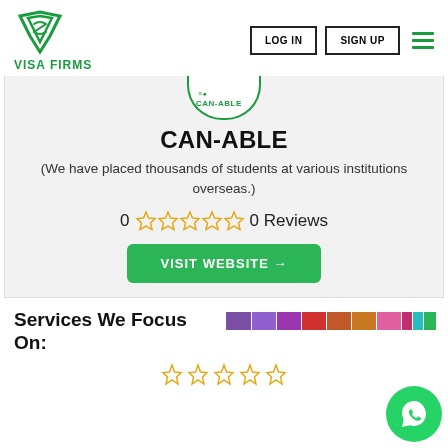[Figure (logo): VISA FIRMS logo with green diamond/V shape and text VISA FIRMS below]
LOG IN
SIGN UP
[Figure (logo): CAN-ABLE company logo circle]
CAN-ABLE
(We have placed thousands of students at various institutions overseas.)
0  0 Reviews
VISIT WEBSITE →
Services We Focus On:
[Figure (infographic): Multicolor horizontal bar with segments in purple, violet, dark red, red-orange, orange, pink, dark pink, teal, green, dark olive]
[Figure (illustration): WhatsApp green circle button]
No Reviews Yet